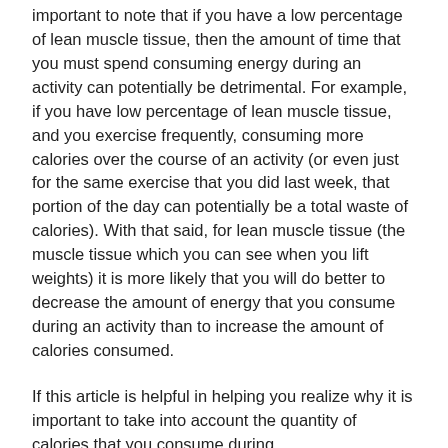important to note that if you have a low percentage of lean muscle tissue, then the amount of time that you must spend consuming energy during an activity can potentially be detrimental. For example, if you have low percentage of lean muscle tissue, and you exercise frequently, consuming more calories over the course of an activity (or even just for the same exercise that you did last week, that portion of the day can potentially be a total waste of calories). With that said, for lean muscle tissue (the muscle tissue which you can see when you lift weights) it is more likely that you will do better to decrease the amount of energy that you consume during an activity than to increase the amount of calories consumed.
If this article is helpful in helping you realize why it is important to take into account the quantity of calories that you consume during